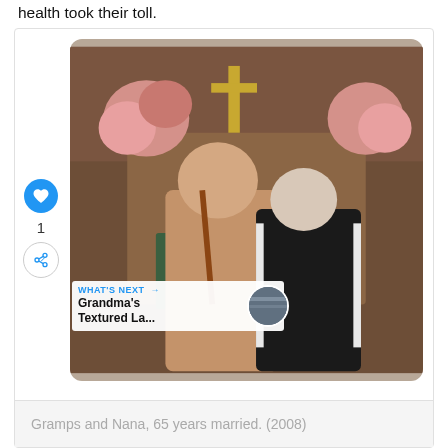health took their toll.
[Figure (photo): An elderly couple standing together in a church. The man wears a tan blazer and the woman wears a black jacket with white embroidery. Church altar with cross and pink flowers visible in background.]
Gramps and Nana, 65 years married. (2008)